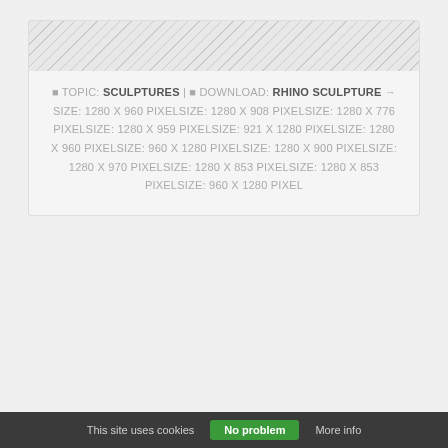🔲 TOPIC: SCULPTURES | 🔲 DOWNLOAD: RHINO SCULPTURE → SIZE: 1280 X 960 PIXELSIZE: 1280 X 908 PIXELSIZE: 1280 X 776 PIXELSIZE: 1280 X 959 PIXELSIZE: 921 X 1280 PIXELSIZE: 1280 X 960 PIXELSIZE: 960 X 1280 PIXELSIZE: 1280 X 900 PIXELSIZE: 1280 X 970 PIXELSIZE: 1280 X 853 PIXELSIZE: 1280 X 853 PIXELSIZE: 960 X 1280 PIXEL
This site uses cookies  No problem  More info